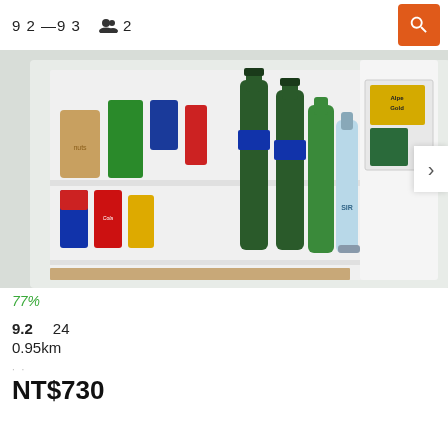9 2 — 9 3   👥 2
[Figure (photo): Open mini-fridge stocked with Red Bull, Coca-Cola cans, beer bottles, water bottles, and snacks including Alpen Gold chocolate on door shelf]
77%
9.2   24
0.95km
NT$730